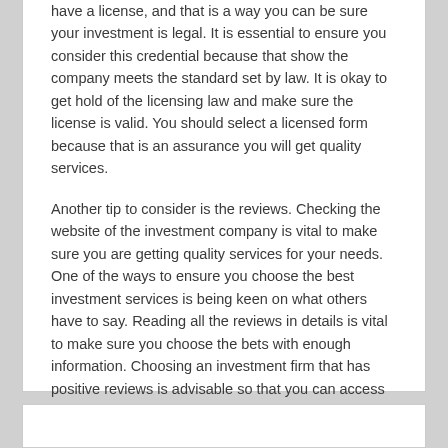have a license, and that is a way you can be sure your investment is legal. It is essential to ensure you consider this credential because that show the company meets the standard set by law. It is okay to get hold of the licensing law and make sure the license is valid. You should select a licensed form because that is an assurance you will get quality services.
Another tip to consider is the reviews. Checking the website of the investment company is vital to make sure you are getting quality services for your needs. One of the ways to ensure you choose the best investment services is being keen on what others have to say. Reading all the reviews in details is vital to make sure you choose the bets with enough information. Choosing an investment firm that has positive reviews is advisable so that you can access the best services for your needs.
Getting Creative With Advice
What Do You Know About